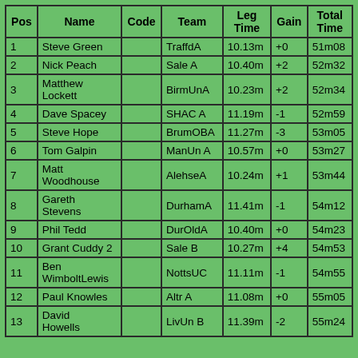| Pos | Name | Code | Team | Leg Time | Gain | Total Time |
| --- | --- | --- | --- | --- | --- | --- |
| 1 | Steve Green |  | TraffdA | 10.13m | +0 | 51m08 |
| 2 | Nick Peach |  | Sale A | 10.40m | +2 | 52m32 |
| 3 | Matthew Lockett |  | BirmUnA | 10.23m | +2 | 52m34 |
| 4 | Dave Spacey |  | SHAC A | 11.19m | -1 | 52m59 |
| 5 | Steve Hope |  | BrumOBA | 11.27m | -3 | 53m05 |
| 6 | Tom Galpin |  | ManUn A | 10.57m | +0 | 53m27 |
| 7 | Matt Woodhouse |  | AlehseA | 10.24m | +1 | 53m44 |
| 8 | Gareth Stevens |  | DurhamA | 11.41m | -1 | 54m12 |
| 9 | Phil Tedd |  | DurOldA | 10.40m | +0 | 54m23 |
| 10 | Grant Cuddy 2 |  | Sale B | 10.27m | +4 | 54m53 |
| 11 | Ben WimboltLewis |  | NottsUC | 11.11m | -1 | 54m55 |
| 12 | Paul Knowles |  | Altr A | 11.08m | +0 | 55m05 |
| 13 | David Howells |  | LivUn B | 11.39m | -2 | 55m24 |